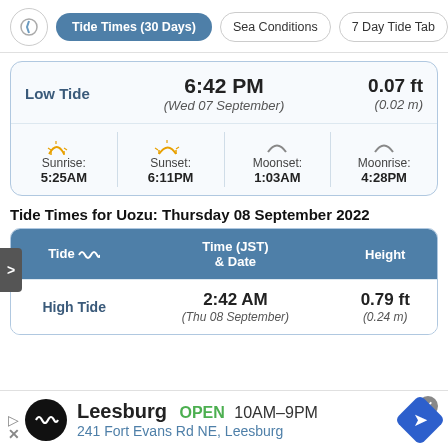Tide Times (30 Days) | Sea Conditions | 7 Day Tide Tab
| Low Tide | 6:42 PM (Wed 07 September) | 0.07 ft (0.02 m) |
| --- | --- | --- |
|  | Sunrise: 5:25AM | Sunset: 6:11PM | Moonset: 1:03AM | Moonrise: 4:28PM |
| --- | --- | --- | --- | --- |
Tide Times for Uozu: Thursday 08 September 2022
| Tide | Time (JST) & Date | Height |
| --- | --- | --- |
| High Tide | 2:42 AM
(Thu 08 September) | 0.79 ft
(0.24 m) |
Leesburg OPEN 10AM–9PM 241 Fort Evans Rd NE, Leesburg